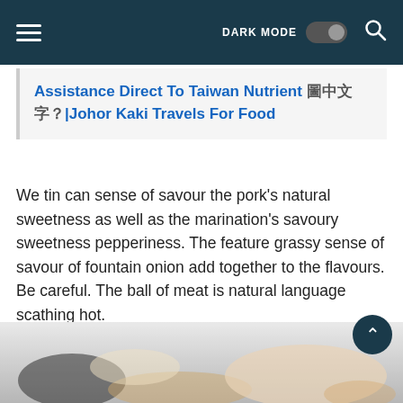☰  DARK MODE [toggle]  🔍
Assistance Direct To Taiwan Nutrient ??????| Johor Kaki Travels For Food
We tin can sense of savour the pork's natural sweetness as well as the marination's savoury sweetness pepperiness. The feature grassy sense of savour of fountain onion add together to the flavours. Be careful. The ball of meat is natural language scathing hot.
It is a delicious pepper cake as well as thence at that spot is e'er a long queue at ???????? outlets. But , production is quite efficient , then waiti[X CLOSE]th dimension is closed to xv minutes at close (based on our experience).
[Figure (photo): Bottom portion of a food photo showing blurred food items on a plate or surface]